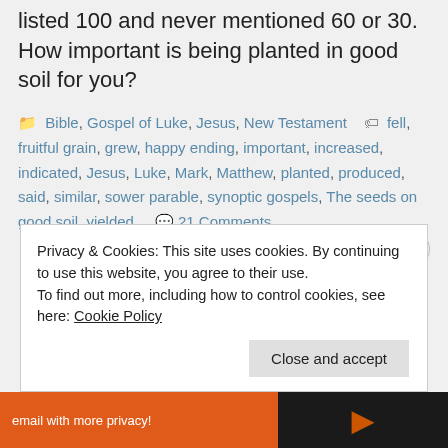listed 100 and never mentioned 60 or 30. How important is being planted in good soil for you?
Categories: Bible, Gospel of Luke, Jesus, New Testament
Tags: fell, fruitful grain, grew, happy ending, important, increased, indicated, Jesus, Luke, Mark, Matthew, planted, produced, said, similar, sower parable, synoptic gospels, The seeds on good soil, yielded
21 Comments
Privacy & Cookies: This site uses cookies. By continuing to use this website, you agree to their use.
To find out more, including how to control cookies, see here: Cookie Policy
Close and accept